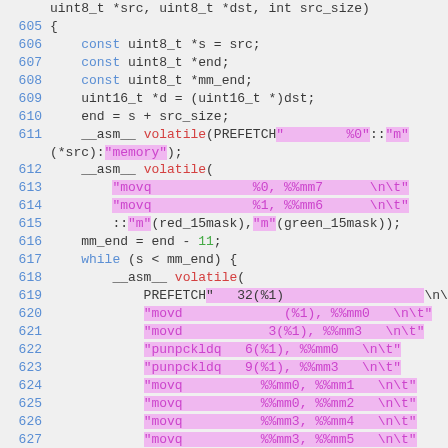Source code listing lines 605-627, C assembly inline code
[Figure (screenshot): Code editor showing C source with inline assembly, lines 605-627, with syntax highlighting including blue line numbers, pink highlighted string literals, green numbers and keywords]